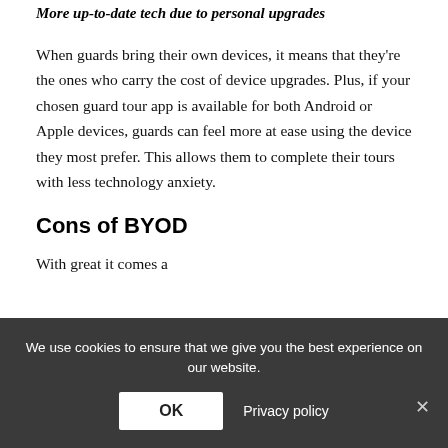More up-to-date tech due to personal upgrades
When guards bring their own devices, it means that they're the ones who carry the cost of device upgrades. Plus, if your chosen guard tour app is available for both Android or Apple devices, guards can feel more at ease using the device they most prefer. This allows them to complete their tours with less technology anxiety.
Cons of BYOD
With great it comes...
We use cookies to ensure that we give you the best experience on our website.
OK  Privacy policy